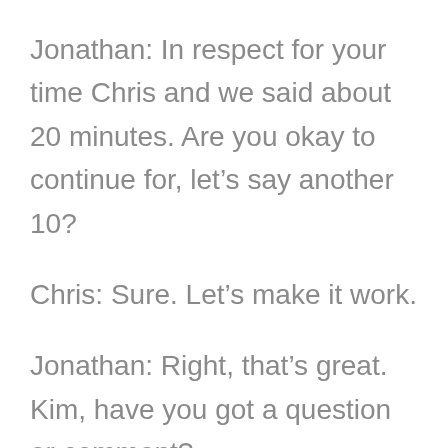Jonathan: In respect for your time Chris and we said about 20 minutes. Are you okay to continue for, let’s say another 10?
Chris: Sure. Let’s make it work.
Jonathan: Right, that’s great. Kim, have you got a question or comment?
Kim: I have lots. First, I really, I want to